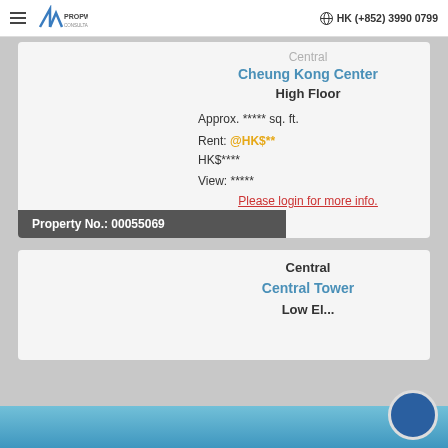Propwiser Consultants Limited | HK (+852) 3990 0799
Central
Cheung Kong Center
High Floor
Approx. ***** sq. ft.
Rent: @HK$**
HK$****
View: *****
Please login for more info.
Property No.: 00055069
Central
Central Tower
Low Floor